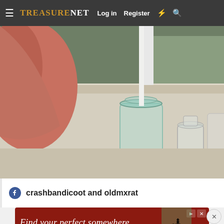TreasureNet — Log in  Register
[Figure (photo): A hand holding/touching a small clear glass jar on a windowsill, with additional small glass bottles visible nearby. Natural light from the window in background.]
crashbandicoot and oldmxrat
[Figure (screenshot): Advertisement banner: 'Find your perfect somewhere' with red background and small travel imagery.]